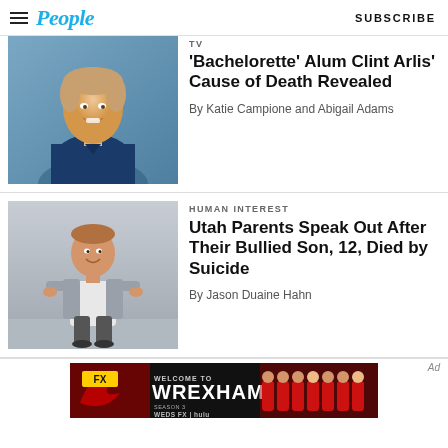People | SUBSCRIBE
TV
'Bachelorette' Alum Clint Arlis' Cause of Death Revealed
By Katie Campione and Abigail Adams
HUMAN INTEREST
Utah Parents Speak Out After Their Bullied Son, 12, Died by Suicide
By Jason Duaine Hahn
[Figure (photo): Welcome to Wrexham advertisement banner with FX logo, show title, 'Weds FX | Hulu' text and soccer team photo]
Ad